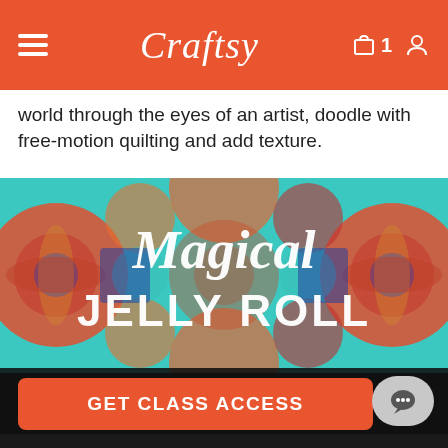Craftsy
world through the eyes of an artist, doodle with free-motion quilting and add texture.
[Figure (screenshot): Craftsy course banner for 'Magical Jelly Roll Quilts' with colorful quilt pattern background and text overlay showing 'Quick & Easy Quilting' and 'KIMBERLY EINMO']
GET CLASS ACCESS